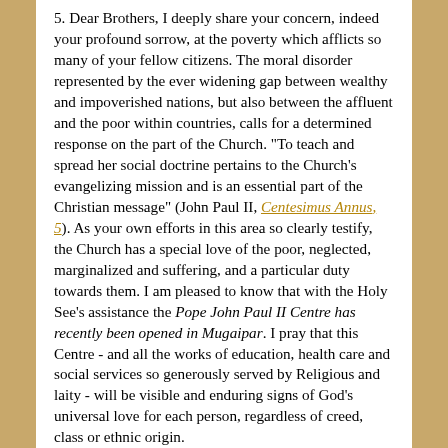5. Dear Brothers, I deeply share your concern, indeed your profound sorrow, at the poverty which afflicts so many of your fellow citizens. The moral disorder represented by the ever widening gap between wealthy and impoverished nations, but also between the affluent and the poor within countries, calls for a determined response on the part of the Church. "To teach and spread her social doctrine pertains to the Church's evangelizing mission and is an essential part of the Christian message" (John Paul II, Centesimus Annus, 5). As your own efforts in this area so clearly testify, the Church has a special love of the poor, neglected, marginalized and suffering, and a particular duty towards them. I am pleased to know that with the Holy See's assistance the Pope John Paul II Centre has recently been opened in Mugaipar. I pray that this Centre - and all the works of education, health care and social services so generously served by Religious and laity - will be visible and enduring signs of God's universal love for each person, regardless of creed, class or ethnic origin.